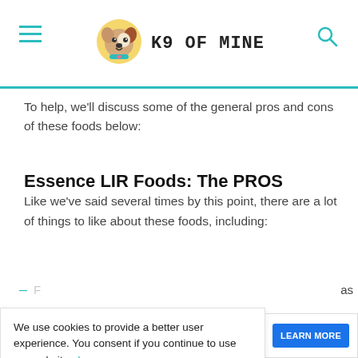K9 OF MINE
To help, we'll discuss some of the general pros and cons of these foods below:
Essence LIR Foods: The PROS
Like we've said several times by this point, there are a lot of things to like about these foods, including:
as
We use cookies to provide a better user experience. You consent if you continue to use our website. Learn more
Got it
and
Firestone — Get An Oil Change Near You — LEARN MORE